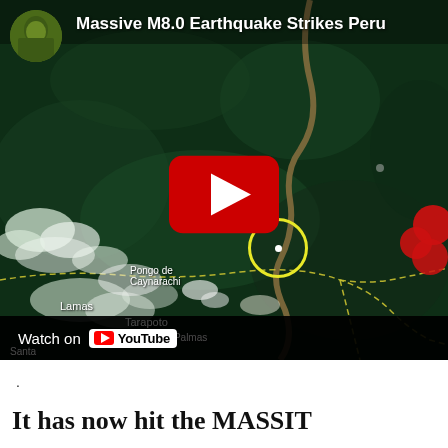[Figure (screenshot): YouTube video thumbnail showing a satellite map of Peru with earthquake markers. Title reads 'Massive M8.0 Earthquake Strikes Peru'. A yellow circle marks the epicenter near Yurimaguas, red dots mark aftershocks to the right. A YouTube play button is centered. Map labels show Yurimaguas, Pongo de Caynarachi, Lamas, Tarapoto, Las Palmas, Santa. Bottom bar shows 'Watch on YouTube'.]
.
It has now hit the MASSIT